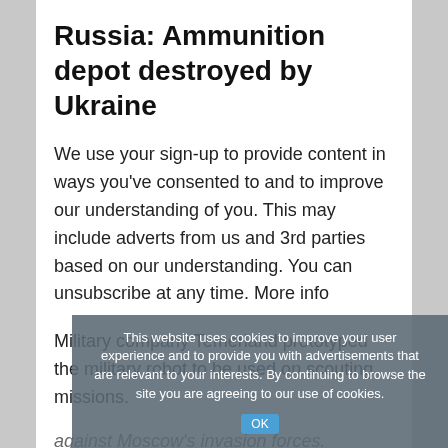Russia: Ammunition depot destroyed by Ukraine
We use your sign-up to provide content in ways you’ve consented to and to improve our understanding of you. This may include adverts from us and 3rd parties based on our understanding. You can unsubscribe at any time. More info
Military company Temerland prototyped the military robot to be used on scouting missions against Moscow’s invasion forces. However, the armed drones are believed to be on the frontline.
This website uses cookies to improve your user experience and to provide you with advertisements that are relevant to your interests. By continuing to browse the site you are agreeing to our use of cookies.